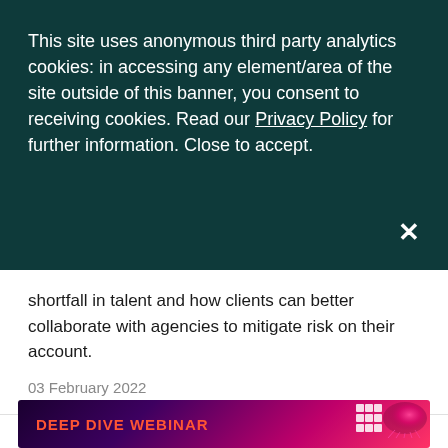This site uses anonymous third party analytics cookies: in accessing any element/area of the site outside of this banner, you consent to receiving cookies. Read our Privacy Policy for further information. Close to accept.
shortfall in talent and how clients can better collaborate with agencies to mitigate risk on their account.
03 February 2022
[Figure (screenshot): Bottom banner with dark purple/pink gradient background showing 'DEEP DIVE WEBINAR' text in orange and a jellyfish graphic with a logo]